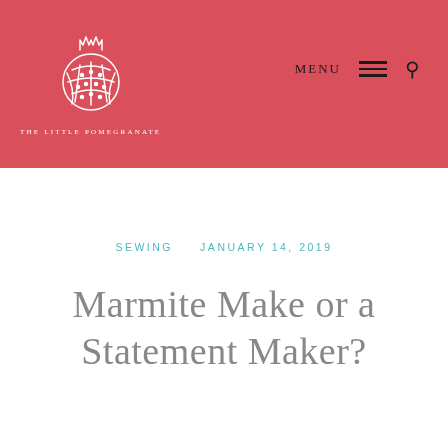[Figure (logo): The Little Pomegranate logo — white line-art pomegranate on red background with text 'THE LITTLE POMEGRANATE' below]
MENU
SEWING   JANUARY 14, 2019
Marmite Make or a Statement Maker?